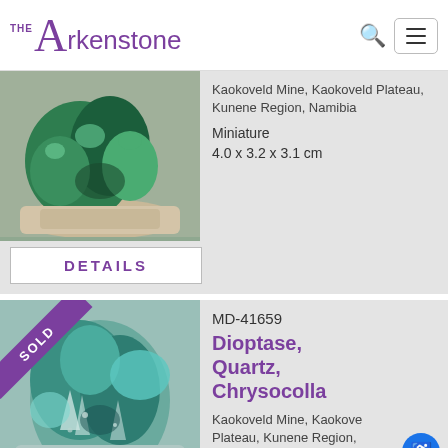THE Arkenstone
[Figure (photo): A green malachite mineral specimen on a light sandy matrix, photographed on a wooden surface.]
Kaokoveld Mine, Kaokoveld Plateau, Kunene Region, Namibia
Miniature
4.0 x 3.2 x 3.1 cm
DETAILS
MD-41659
Dioptase, Quartz, Chrysocolla
[Figure (photo): A green dioptase, quartz, and chrysocolla mineral specimen, with a SOLD banner in the upper left corner.]
Kaokoveld Mine, Kaokoveld Plateau, Kunene Region, Namibia